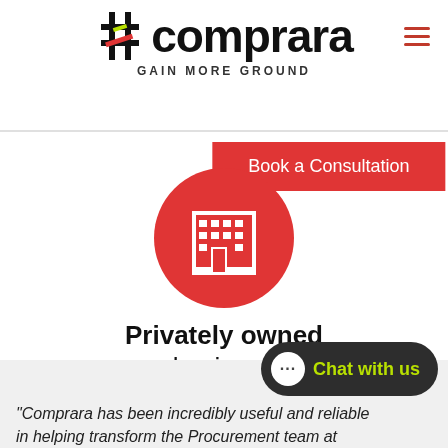[Figure (logo): Comprara logo with hashtag symbol and text 'GAIN MORE GROUND']
Book a Consultation
[Figure (illustration): Red circle with white building/office icon]
Privately owned business
View here >>
[Figure (illustration): Red circle with white double up-chevron arrow (scroll to top)]
"Comprara has been incredibly useful and reliable in helping transform the Procurement team at